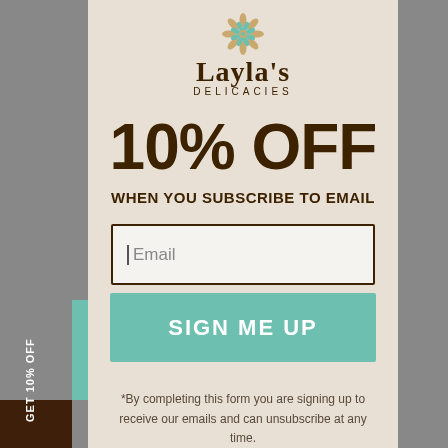[Figure (logo): Layla's Delicacies logo with decorative floral/mandala design and brand name]
10% OFF
WHEN YOU SUBSCRIBE TO EMAIL
Email
SIGN ME UP
*By completing this form you are signing up to receive our emails and can unsubscribe at any time.